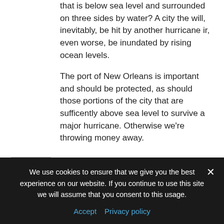that is below sea level and surrounded on three sides by water? A city the will, inevitably, be hit by another hurricane ir, even worse, be inundated by rising ocean levels.
The port of New Orleans is important and should be protected, as should those portions of the city that are sufficently above sea level to survive a major hurricane. Otherwise we're throwing money away.
ironman JUNE 28, 2006
PA is above sea level. If it floods
We use cookies to ensure that we give you the best experience on our website. If you continue to use this site we will assume that you consent to this usage.
Accept  Privacy policy